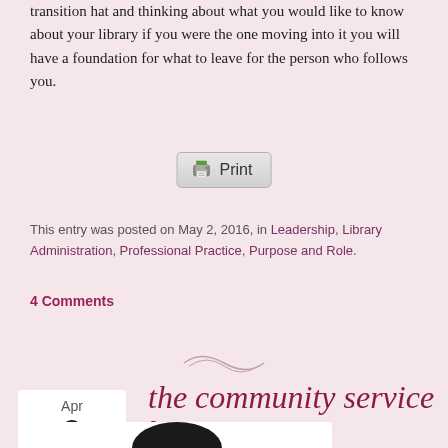transition hat and thinking about what you would like to know about your library if you were the one moving into it you will have a foundation for what to leave for the person who follows you.
[Figure (other): Print button with printer icon]
This entry was posted on May 2, 2016, in Leadership, Library Administration, Professional Practice, Purpose and Role.
4 Comments
[Figure (illustration): Decorative tilde/swirl divider]
Apr 3
the community service hat
[Figure (photo): Partial photo of a hat at bottom of page]